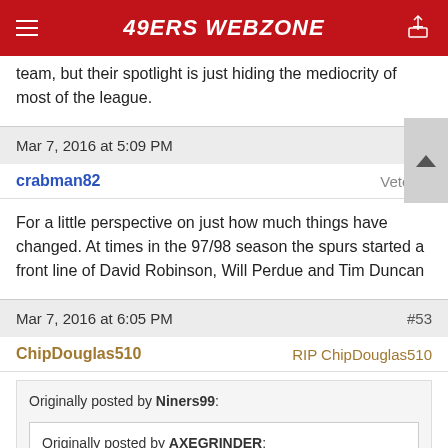49ERS WEBZONE
team, but their spotlight is just hiding the mediocrity of most of the league.
Mar 7, 2016 at 5:09 PM   #52
crabman82   Veteran
For a little perspective on just how much things have changed. At times in the 97/98 season the spurs started a front line of David Robinson, Will Perdue and Tim Duncan
Mar 7, 2016 at 6:05 PM   #53
ChipDouglas510   RIP ChipDouglas510
Originally posted by Niners99:
Originally posted by AXEGRINDER:
The object of the game is to put the ball in the hoop.